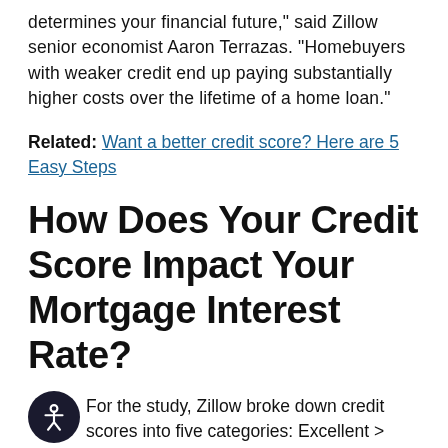determines your financial future," said Zillow senior economist Aaron Terrazas. "Homebuyers with weaker credit end up paying substantially higher costs over the lifetime of a home loan."
Related: Want a better credit score? Here are 5 Easy Steps
How Does Your Credit Score Impact Your Mortgage Interest Rate?
For the study, Zillow broke down credit scores into five categories: Excellent > 760, Very Good – 759, Good 680 – 719, Fair 640 – 680, and r < 640.